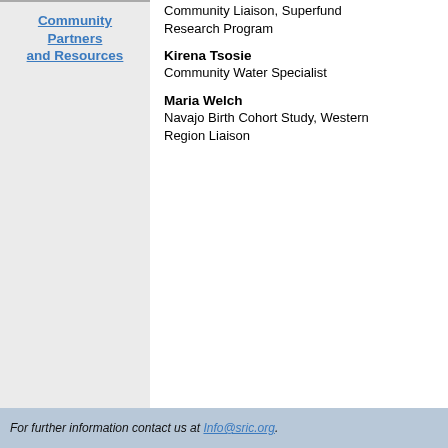Community Partners and Resources
Community Liaison, Superfund Research Program
Kirena Tsosie
Community Water Specialist
Maria Welch
Navajo Birth Cohort Study, Western Region Liaison
For further information contact us at Info@sric.org.